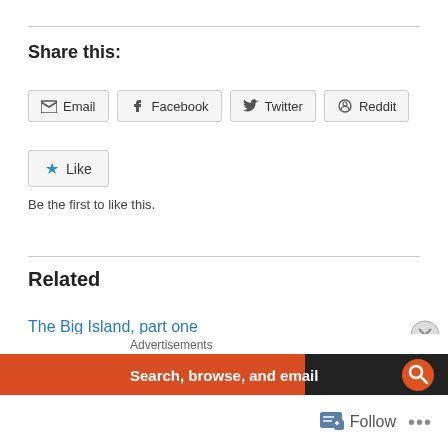Share this:
Email | Facebook | Twitter | Reddit
Like
Be the first to like this.
Related
The Big Island, part one
September 5, 2012
In "General"
The Big Island, day two
September 10, 2012
Advertisements
[Figure (screenshot): Advertisement banner: Search, browse, and email with DuckDuckGo branding on dark background]
Follow